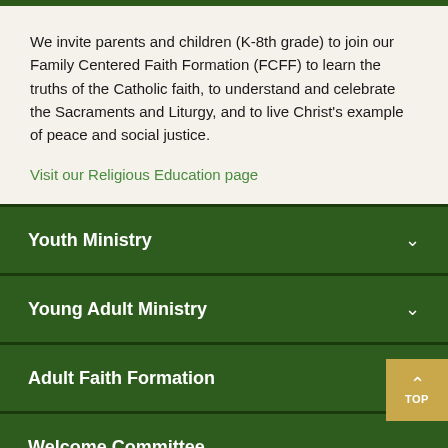We invite parents and children (K-8th grade) to join our Family Centered Faith Formation (FCFF) to learn the truths of the Catholic faith, to understand and celebrate the Sacraments and Liturgy, and to live Christ's example of peace and social justice.
Visit our Religious Education page
Youth Ministry
Young Adult Ministry
Adult Faith Formation
Welcome Committee